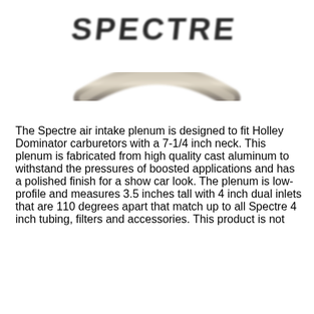[Figure (logo): Spectre brand logo with stylized text and a curved metallic/chrome arc element beneath it]
The Spectre air intake plenum is designed to fit Holley Dominator carburetors with a 7-1/4 inch neck. This plenum is fabricated from high quality cast aluminum to withstand the pressures of boosted applications and has a polished finish for a show car look. The plenum is low-profile and measures 3.5 inches tall with 4 inch dual inlets that are 110 degrees apart that match up to all Spectre 4 inch tubing, filters and accessories. This product is not